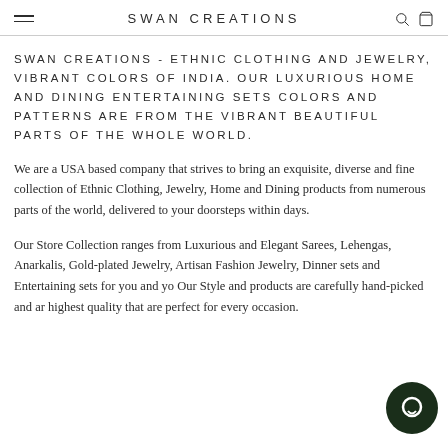SWAN CREATIONS
SWAN CREATIONS - ETHNIC CLOTHING AND JEWELRY, VIBRANT COLORS OF INDIA. OUR LUXURIOUS HOME AND DINING ENTERTAINING SETS COLORS AND PATTERNS ARE FROM THE VIBRANT BEAUTIFUL PARTS OF THE WHOLE WORLD.
We are a USA based company that strives to bring an exquisite, diverse and fine collection of Ethnic Clothing, Jewelry, Home and Dining products from numerous parts of the world, delivered to your doorsteps within days.
Our Store Collection ranges from Luxurious and Elegant Sarees, Lehengas, Anarkalis, Gold-plated Jewelry, Artisan Fashion Jewelry, Dinner sets and Entertaining sets for you and yo... Our Style and products are carefully hand-picked and ar... highest quality that are perfect for every occasion.